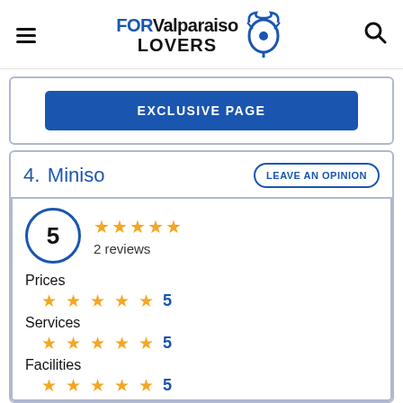FOR Valparaiso LOVERS
EXCLUSIVE PAGE
4. Miniso
LEAVE AN OPINION
5
2 reviews
Prices
★★★★★ 5
Services
★★★★★ 5
Facilities
★★★★★ 5